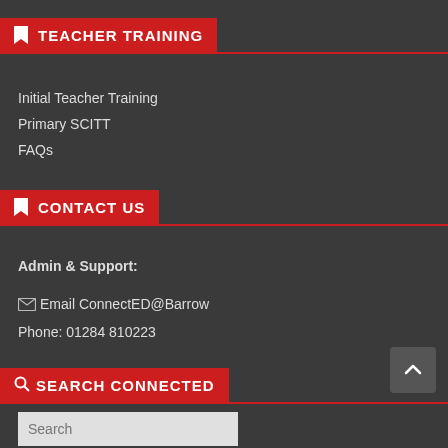TEACHER TRAINING
Initial Teacher Training
Primary SCITT
FAQs
CONTACT US
Admin & Support:
Email ConnectED@Barrow
Phone: 01284 810223
SEARCH CONNECTED